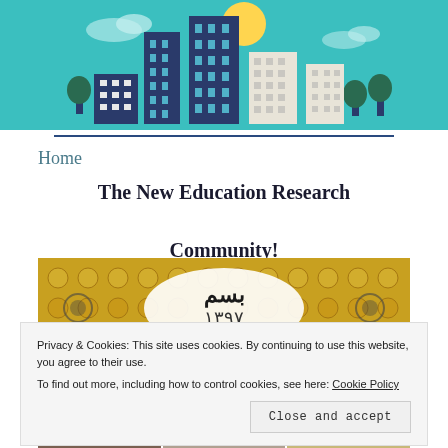[Figure (illustration): Website header banner with illustrated city skyline on teal/turquoise background. Features cartoon-style buildings, trees, and a sun.]
Home
The New Education Research Community!
[Figure (photo): Ornamental Islamic/Persian decorative artwork with yellow and gold floral patterns, calligraphic text, and geometric designs.]
Privacy & Cookies: This site uses cookies. By continuing to use this website, you agree to their use. To find out more, including how to control cookies, see here: Cookie Policy
[Figure (photo): Bottom strip of photos partially visible, showing various images related to education research community.]